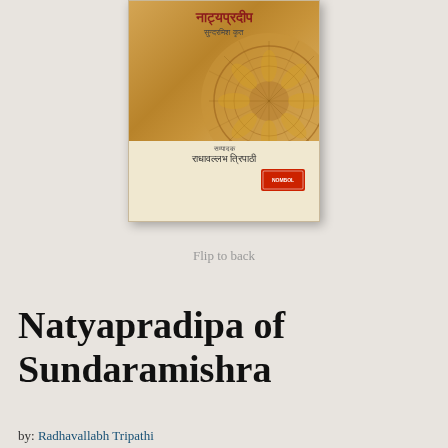[Figure (photo): Book cover of Natyapradipa of Sundaramishra, showing Hindi/Devanagari title text and a decorative mandala/circular temple ceiling motif in golden-brown tones, edited by Radhavallabh Tripathi, with publisher logo at bottom right.]
Flip to back
Natyapradipa of Sundaramishra
by: Radhavallabh Tripathi